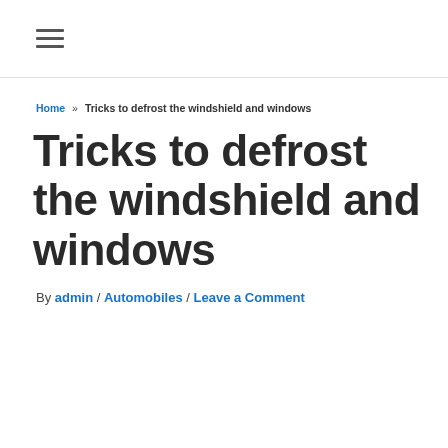☰
Home » Tricks to defrost the windshield and windows
Tricks to defrost the windshield and windows
By admin / Automobiles / Leave a Comment